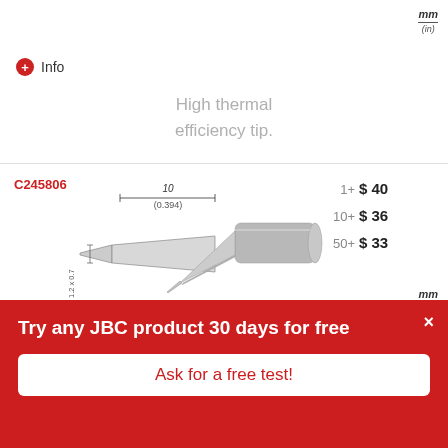mm / (in)
Info
High thermal efficiency tip.
[Figure (engineering-diagram): Technical drawing of soldering tip C245806. Left view shows a 2D cross-section schematic with dimension annotations: width 10mm (0.394in) and height 1.2 x 0.7 (0.047 x 0.028). Right view shows a 3D perspective rendering of the elongated chisel-tip soldering iron tip.]
C245806
1+  $ 40
10+  $ 36
50+  $ 33
mm / (in)
Try any JBC product 30 days for free
Ask for a free test!